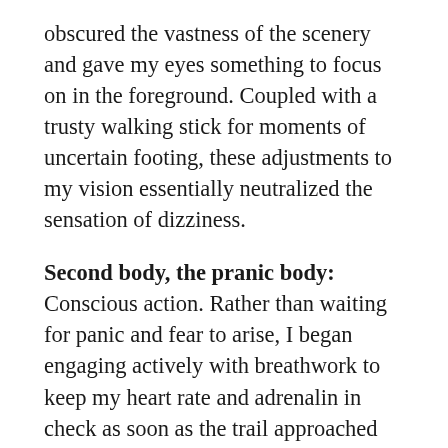obscured the vastness of the scenery and gave my eyes something to focus on in the foreground. Coupled with a trusty walking stick for moments of uncertain footing, these adjustments to my vision essentially neutralized the sensation of dizziness.
Second body, the pranic body:
Conscious action. Rather than waiting for panic and fear to arise, I began engaging actively with breathwork to keep my heart rate and adrenalin in check as soon as the trail approached the tree line. As I made the ascent, I focused on